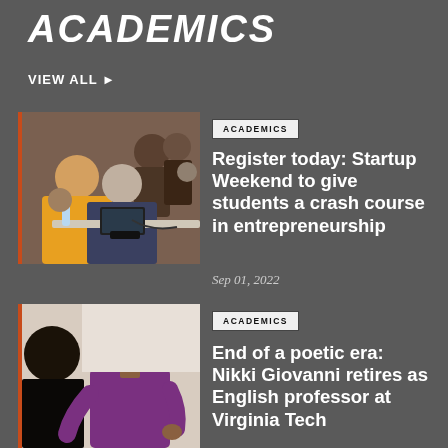ACADEMICS
VIEW ALL ▶
[Figure (photo): Students working together at a table with laptops, collaborative learning session]
ACADEMICS
Register today: Startup Weekend to give students a crash course in entrepreneurship
Sep 01, 2022
[Figure (photo): Older smiling woman with glasses, wearing a purple sweater, Nikki Giovanni]
ACADEMICS
End of a poetic era: Nikki Giovanni retires as English professor at Virginia Tech